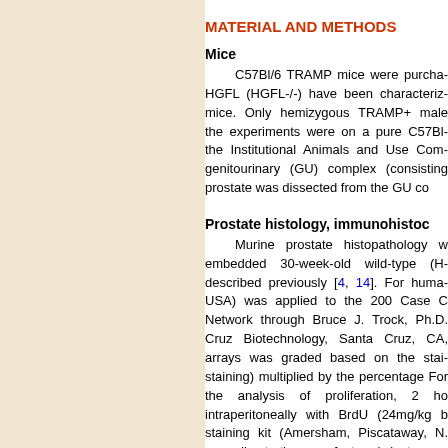MATERIAL AND METHODS
Mice
C57Bl/6 TRAMP mice were purchased. HGFL (HGFL-/-) have been characterized mice. Only hemizygous TRAMP+ male the experiments were on a pure C57Bl the Institutional Animals and Use Committee genitourinary (GU) complex (consisting prostate was dissected from the GU co
Prostate histology, immunohistoc
Murine prostate histopathology w embedded 30-week-old wild-type (H described previously [4, 14]. For human USA) was applied to the 200 Case C Network through Bruce J. Trock, Ph.D. Cruz Biotechnology, Santa Cruz, CA, arrays was graded based on the staining staining) multiplied by the percentage For the analysis of proliferation, 2 ho intraperitoneally with BrdU (24mg/kg b staining kit (Amersham, Piscataway, N according to the manufacturer's inst